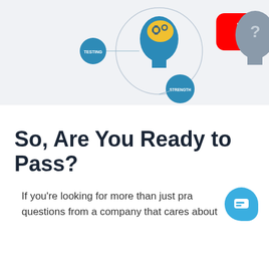[Figure (infographic): Educational infographic on a light gray background showing a blue human head silhouette with colored brain and gear icons, circular diagram with blue dots labeled 'TESTING' and 'STRENGTH', a YouTube play button in red with 'VS' text, and a gray head silhouette with a question mark.]
So, Are You Ready to Pass?
If you're looking for more than just pra questions from a company that cares about